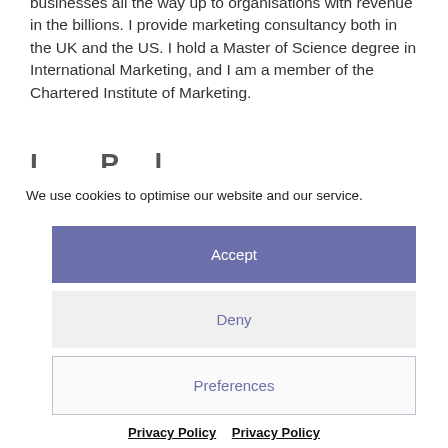businesses all the way up to organisations with revenue in the billions. I provide marketing consultancy both in the UK and the US. I hold a Master of Science degree in International Marketing, and I am a member of the Chartered Institute of Marketing.
We use cookies to optimise our website and our service.
Accept
Deny
Preferences
Privacy Policy  Privacy Policy